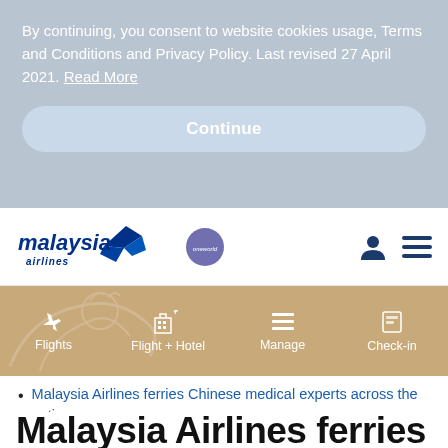By continuing, you consent to website cookies usage, Terms and Conditions and Privacy Policy. Last revised 27 April 2021. Read More
Continue
[Figure (logo): Malaysia Airlines logo with stylized bird and 'malaysia airlines' text in blue italic, plus oneworld badge]
[Figure (screenshot): Navigation menu bar with tan/khaki background showing: Flights, Flight + Hotel, Manage, Check-in icons]
Malaysia Airlines ferries Chinese medical experts across the nation
Malaysia Airlines ferries Chinese medical experts